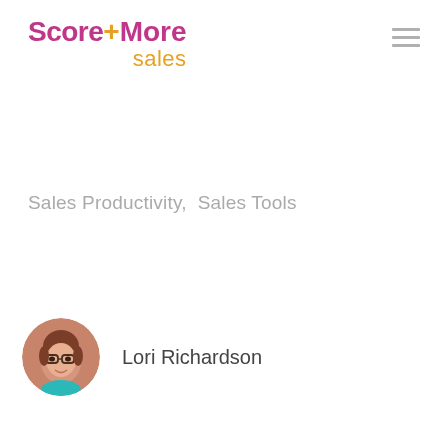[Figure (logo): Score+More sales logo with magenta and orange text]
Sales Productivity,  Sales Tools
[Figure (photo): Circular portrait photo of Lori Richardson, a woman with glasses and short brown hair, smiling]
Lori Richardson